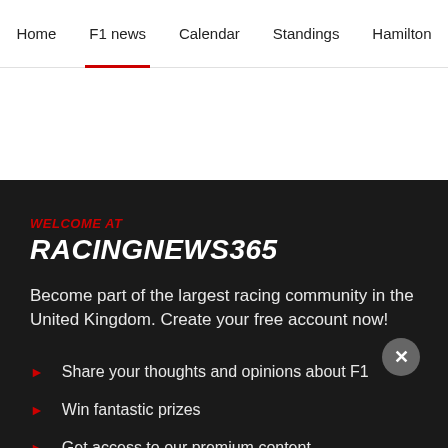Home | F1 news | Calendar | Standings | Hamilton
WELCOME AT
RACINGNEWS365
Become part of the largest racing community in the United Kingdom. Create your free account now!
Share your thoughts and opinions about F1
Win fantastic prizes
Get access to our premium content